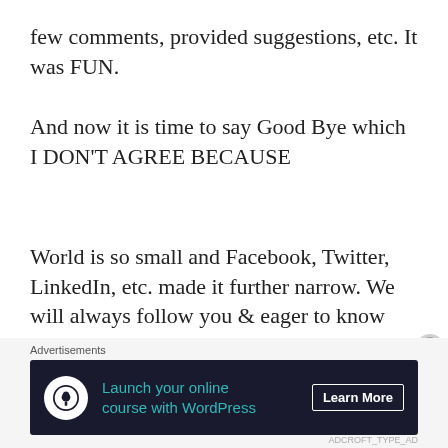few comments, provided suggestions, etc. It was FUN.
And now it is time to say Good Bye which I DON'T AGREE BECAUSE
World is so small and Facebook, Twitter, LinkedIn, etc. made it further narrow. We will always follow you & eager to know WHAT ARE YOU UP TO NOW.
We are always here to help you for
[Figure (other): Advertisement banner: 'Launch your online course with WordPress' with Learn More button, dark background with teal text, tree/person icon. Labeled 'Advertisements' above.]